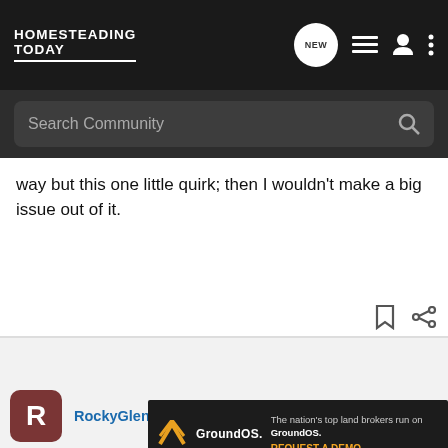HOMESTEADING TODAY
Search Community
way but this one little quirk; then I wouldn't make a big issue out of it.
[Figure (screenshot): Bookmark and share icons at bottom right of post]
[Figure (infographic): GroundOS advertisement banner: The nation's top land brokers run on GroundOS. REQUEST A DEMO]
RockyGlen